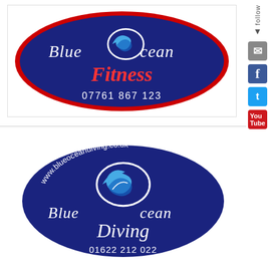[Figure (logo): Blue Ocean Fitness oval logo: dark navy blue oval with red border, white wave/spiral graphic in center, 'Blue Ocean' in white cursive text, 'Fitness' in red bold text, phone number '07761 867 123' in white text below]
[Figure (logo): Blue Ocean Diving oval logo: dark navy blue oval with white border, 'www.blueoceandiving.co.uk' in white text curved at top, white wave/spiral graphic in center, 'Blue Ocean' in white cursive text, 'Diving' in white cursive text, phone number '01622 212 022' in white text below]
follow